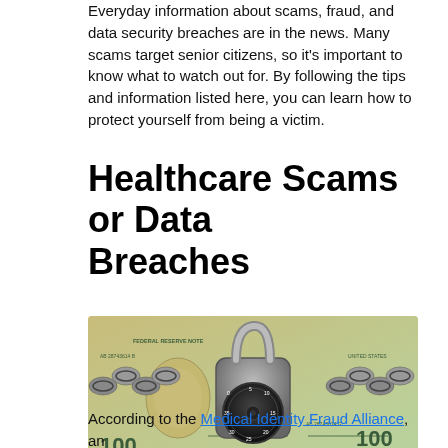Everyday information about scams, fraud, and data security breaches are in the news. Many scams target senior citizens, so it's important to know what to watch out for. By following the tips and information listed here, you can learn how to protect yourself from being a victim.
Healthcare Scams or Data Breaches
[Figure (photo): A $100 US dollar bill wrapped in a metal chain secured by a combination padlock with a black dial showing numbers 0-35.]
According to the Medical Identity Fraud Alliance, an